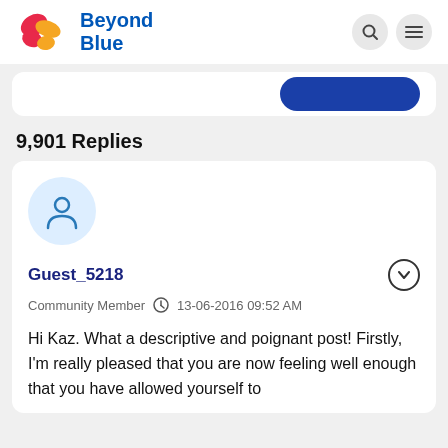[Figure (logo): Beyond Blue butterfly logo with pink and yellow wings and blue text]
9,901 Replies
Guest_5218
Community Member
13-06-2016 09:52 AM
Hi Kaz. What a descriptive and poignant post! Firstly, I'm really pleased that you are now feeling well enough that you have allowed yourself to